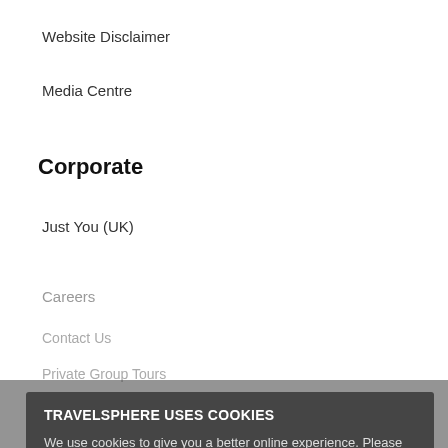Website Disclaimer
Media Centre
Corporate
Just You (UK)
Careers
Contact Us
Private Group Tours
Frequently Asked Questions
For More reasons to Book with Us
TRAVELSPHERE USES COOKIES
We use cookies to give you a better online experience. Please let us know if you agree to the use of cookies by clicking 'OK', or simply continue to use our site. If you'd like to see more details press 'See more'.
See More
OK